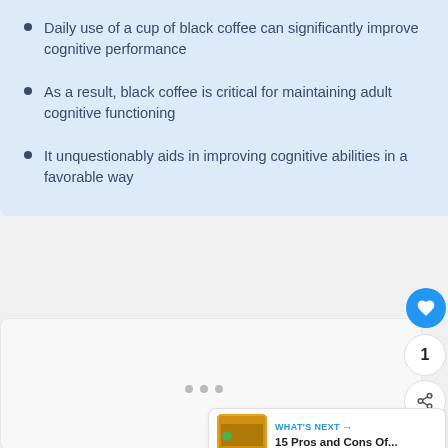Daily use of a cup of black coffee can significantly improve cognitive performance
As a result, black coffee is critical for maintaining adult cognitive functioning
It unquestionably aids in improving cognitive abilities in a favorable way
[Figure (screenshot): Empty white card area below the bullet list, with floating action buttons (heart/like, count '1', share) on the right side, navigation dots, and a 'What's Next' card showing '15 Pros and Cons Of...']